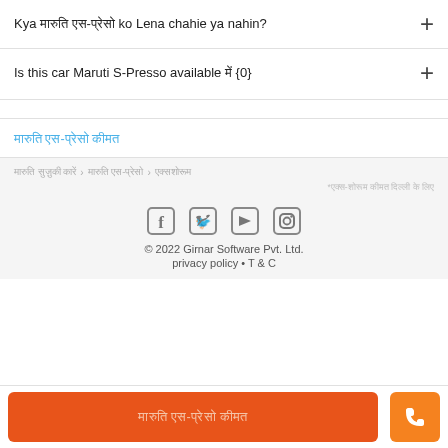Kya मारुति एस-प्रेसो ko Lena chahie ya nahin?
Is this car Maruti S-Presso available में {0}
मारुति एस-प्रेसो कीमत
मारुति सुज़ुकी कारें  >  मारुति एस-प्रेसो  >  एक्सशोरूम
*एक्स-शोरूम कीमत दिल्ली के लिए
© 2022 Girnar Software Pvt. Ltd.
privacy policy • T & C